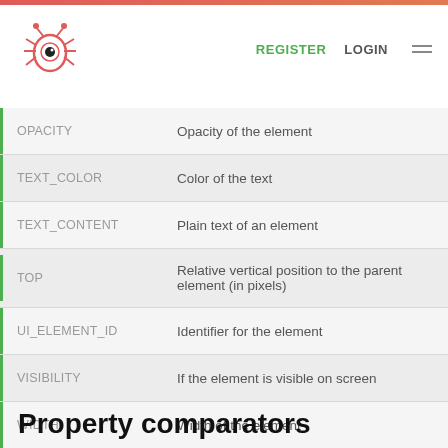REGISTER LOGIN
| Property | Description |
| --- | --- |
| OPACITY | Opacity of the element |
| TEXT_COLOR | Color of the text |
| TEXT_CONTENT | Plain text of an element |
| TOP | Relative vertical position to the parent element (in pixels) |
| UI_ELEMENT_ID | Identifier for the element |
| VISIBILITY | If the element is visible on screen |
| WIDTH | Width of the element |
Property comparators